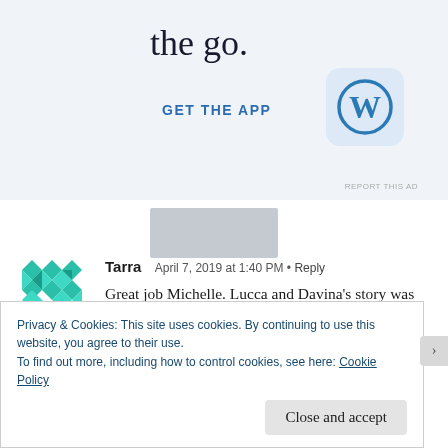the go.
GET THE APP
[Figure (logo): WordPress app icon - blue W logo on light blue rounded square background]
REPORT THIS AD
Tarra   April 7, 2019 at 1:40 PM • Reply
Great job Michelle. Lucca and Davina's story was perfect. And that little twist with Angelo and Sya OMG! Can't wait for the next book in the series. Looks like Aniya could be trouble. She is playing
Privacy & Cookies: This site uses cookies. By continuing to use this website, you agree to their use.
To find out more, including how to control cookies, see here: Cookie Policy
Close and accept